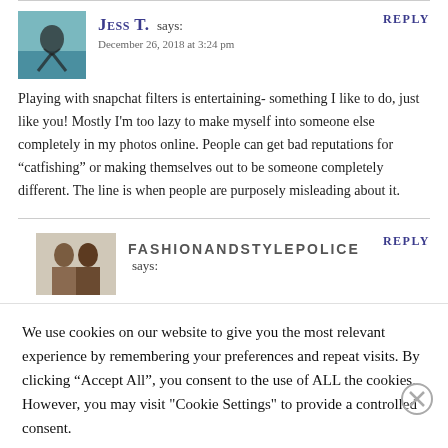[Figure (photo): Avatar photo of Jess T. - person in a blue background]
Jess T. says:
December 26, 2018 at 3:24 pm
REPLY
Playing with snapchat filters is entertaining- something I like to do, just like you! Mostly I’m too lazy to make myself into someone else completely in my photos online. People can get bad reputations for “catfishing” or making themselves out to be someone completely different. The line is when people are purposely misleading about it.
[Figure (photo): Avatar photo of fashionandstylepolice - two people]
FASHIONANDSTYLEPOLICE says:
REPLY
We use cookies on our website to give you the most relevant experience by remembering your preferences and repeat visits. By clicking “Accept All”, you consent to the use of ALL the cookies. However, you may visit "Cookie Settings" to provide a controlled consent.
Advertisements
REPORT THIS AD